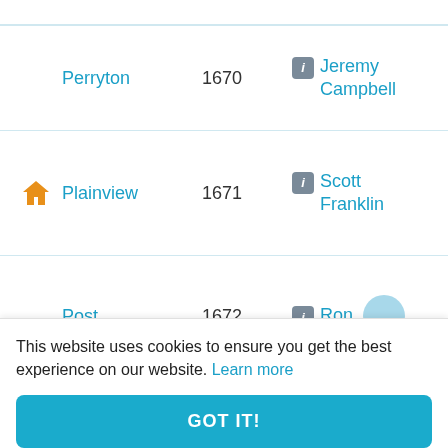|  | City | ID | Agent |
| --- | --- | --- | --- |
|  | Perryton | 1670 | Jeremy Campbell |
| [home] | Plainview | 1671 | Scott Franklin |
|  | Post | 1672 | Ron |
This website uses cookies to ensure you get the best experience on our website. Learn more
GOT IT!